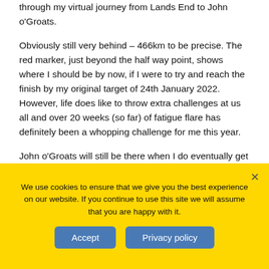through my virtual journey from Lands End to John o'Groats.
Obviously still very behind – 466km to be precise. The red marker, just beyond the half way point, shows where I should be by now, if I were to try and reach the finish by my original target of 24th January 2022. However, life does like to throw extra challenges at us all and over 20 weeks (so far) of fatigue flare has definitely been a whopping challenge for me this year.
John o'Groats will still be there when I do eventually get there. I shall continue to channel my inner Dory and just keep pedalling... pedalling, pedalling... pedalling, pedalling, pedalling, pedalling...
We use cookies to ensure that we give you the best experience on our website. If you continue to use this site we will assume that you are happy with it.